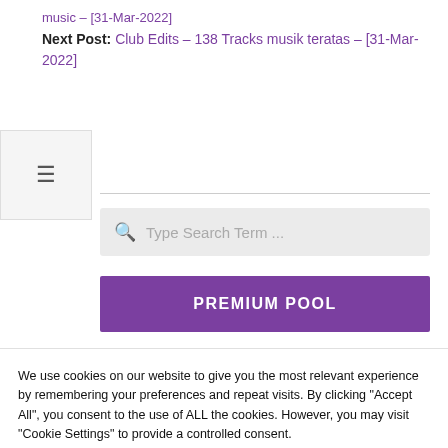music – [31-Mar-2022]
Next Post: Club Edits – 138 Tracks musik teratas – [31-Mar-2022]
[Figure (screenshot): Search box with placeholder text 'Type Search Term ...']
PREMIUM POOL
We use cookies on our website to give you the most relevant experience by remembering your preferences and repeat visits. By clicking "Accept All", you consent to the use of ALL the cookies. However, you may visit "Cookie Settings" to provide a controlled consent.
Cookie Settings
Accept All